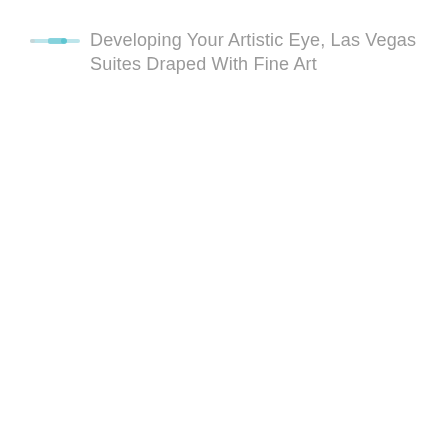[Figure (other): Small horizontal progress bar or slider icon in light blue/teal color with a small dot marker]
Developing Your Artistic Eye, Las Vegas Suites Draped With Fine Art